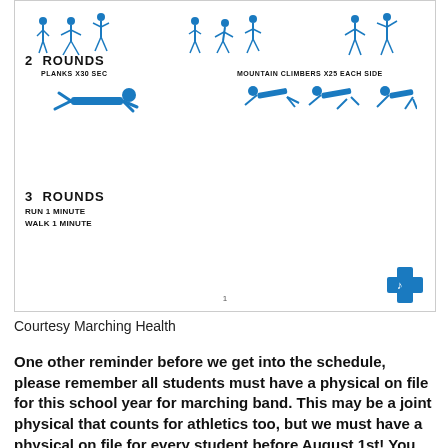[Figure (illustration): Workout infographic from Marching Health showing exercise instructions: stick figures at top, 2 ROUNDS section with PLANKS X30 SEC and MOUNTAIN CLIMBERS X25 EACH SIDE with demonstration photos, 3 ROUNDS section with RUN 1 MINUTE / WALK 1 MINUTE, page number 1, and a blue cross music logo in bottom right.]
Courtesy Marching Health
One other reminder before we get into the schedule, please remember all students must have a physical on file for this school year for marching band. This may be a joint physical that counts for athletics too, but we must have a physical on file for every student before August 1st! You may find the form here if you need to print one off to take to your